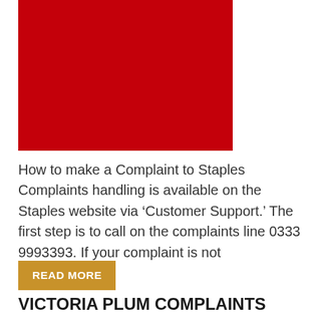[Figure (illustration): Red rectangle image, cropped at top]
How to make a Complaint to Staples Complaints handling is available on the Staples website via ‘Customer Support.’ The first step is to call on the complaints line 0333 9993393. If your complaint is not
READ MORE
VICTORIA PLUM COMPLAINTS EMAIL & PHONE NUMBER